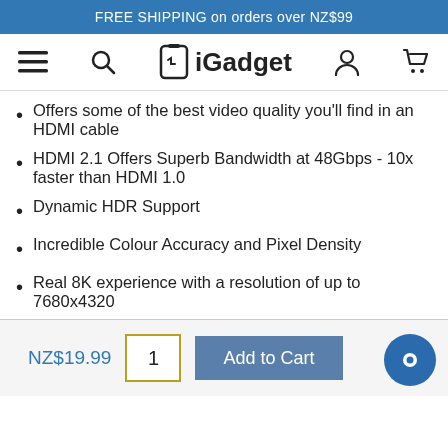FREE SHIPPING on orders over NZ$99
[Figure (logo): iGadget navigation bar with hamburger menu, search icon, iGadget logo, user icon, and cart icon]
Offers some of the best video quality you'll find in an HDMI cable
HDMI 2.1 Offers Superb Bandwidth at 48Gbps - 10x faster than HDMI 1.0
Dynamic HDR Support
Incredible Colour Accuracy and Pixel Density
Real 8K experience with a resolution of up to 7680x4320
NZ$19.99  1  Add to Cart